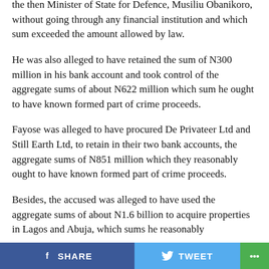the then Minister of State for Defence, Musiliu Obanikoro, without going through any financial institution and which sum exceeded the amount allowed by law.
He was also alleged to have retained the sum of N300 million in his bank account and took control of the aggregate sums of about N622 million which sum he ought to have known formed part of crime proceeds.
Fayose was alleged to have procured De Privateer Ltd and Still Earth Ltd, to retain in their two bank accounts, the aggregate sums of N851 million which they reasonably ought to have known formed part of crime proceeds.
Besides, the accused was alleged to have used the aggregate sums of about N1.6 billion to acquire properties in Lagos and Abuja, which sums he reasonably
SHARE   TWEET   ...